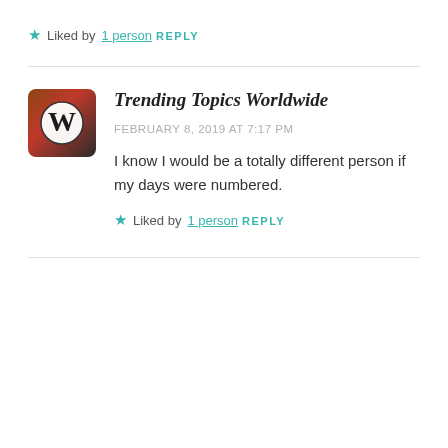★ Liked by 1 person
REPLY
Trending Topics Worldwide
FEBRUARY 8, 2019 AT 7:17 PM
I know I would be a totally different person if my days were numbered.
★ Liked by 1 person
REPLY